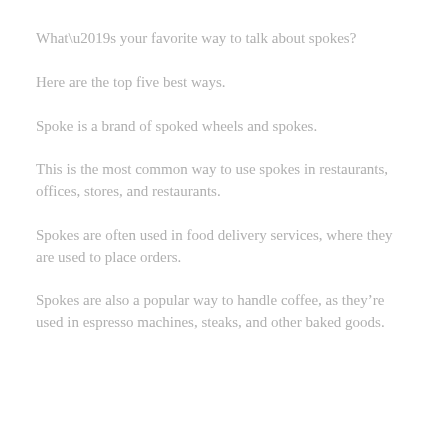What’s your favorite way to talk about spokes?
Here are the top five best ways.
Spoke is a brand of spoked wheels and spokes.
This is the most common way to use spokes in restaurants, offices, stores, and restaurants.
Spokes are often used in food delivery services, where they are used to place orders.
Spokes are also a popular way to handle coffee, as they’re used in espresso machines, steaks, and other baked goods.